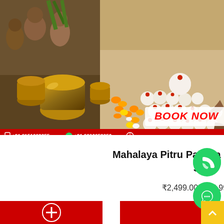[Figure (photo): Priests performing Pitru Paksha Shraddh puja ceremony with brass/copper vessels and pinda (rice ball) offerings with marigold flowers. BOOK NOW button overlay in center. Red contact bar at bottom with phone numbers and website.]
Mahalaya Pitru Paksha Shraddh 10-25 Sep
₹2,499.00 – ₹6,999.00
Participate in Mahalaya Pitru Paksha Sankalp Shradh Online in Kshetra...